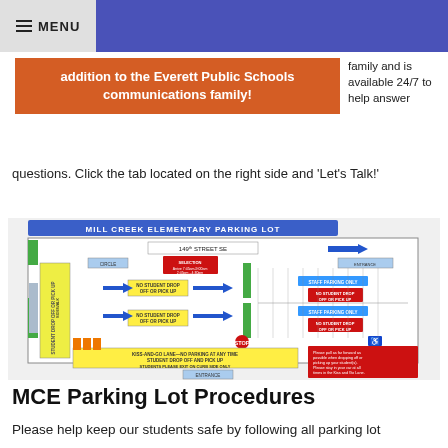MENU
addition to the Everett Public Schools communications family!
family and is available 24/7 to help answer questions. Click the tab located on the right side and 'Let's Talk!'
[Figure (map): Mill Creek Elementary Parking Lot diagram showing traffic flow, student drop-off and pick-up lanes, staff parking only areas, kiss-and-go lane, and directional arrows.]
MCE Parking Lot Procedures
Please help keep our students safe by following all parking lot